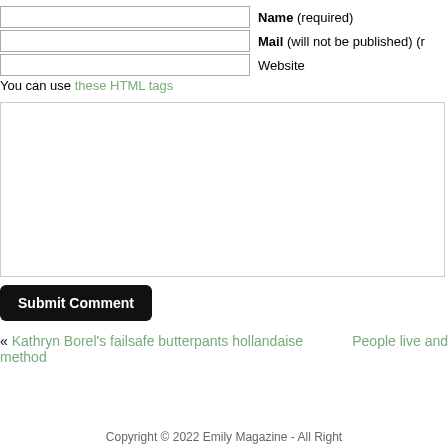Name (required)
Mail (will not be published) (r
Website
You can use these HTML tags
Submit Comment
« Kathryn Borel's failsafe butterpants hollandaise method
People live and
Copyright © 2022 Emily Magazine - All Right